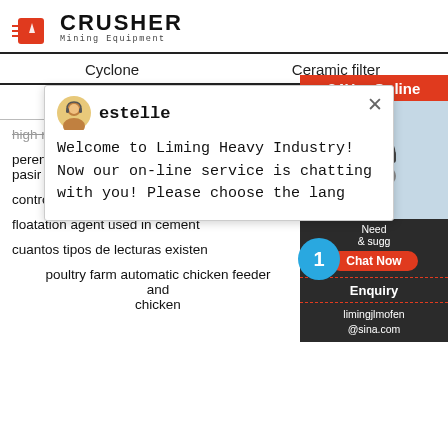[Figure (logo): Crusher Mining Equipment logo with red shopping bag icon and bold CRUSHER text]
Cyclone
Ceramic filter
SOME OTHER ARTICLES
[Figure (screenshot): Chat popup from estelle: Welcome to Liming Heavy Industry! Now our on-line service is chatting with you! Please choose the lang]
high reliable limestone machine jaw crusher
perencanaan transmisi mesin pengayak pasir
control philosophy of ball mill
floatation agent used in cement
cuantos tipos de lecturas existen
poultry farm automatic chicken feeder and chicken